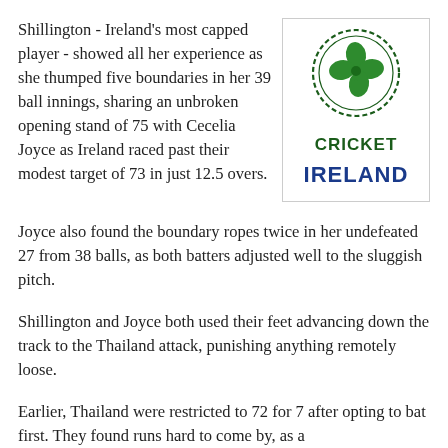Shillington - Ireland's most capped player - showed all her experience as she thumped five boundaries in her 39 ball innings, sharing an unbroken opening stand of 75 with Cecelia Joyce as Ireland raced past their modest target of 73 in just 12.5 overs.
[Figure (logo): Cricket Ireland logo: green shamrock/clover in a dashed circle, with 'CRICKET' in green bold text and 'IRELAND' in dark blue bold text below]
Joyce also found the boundary ropes twice in her undefeated 27 from 38 balls, as both batters adjusted well to the sluggish pitch.
Shillington and Joyce both used their feet advancing down the track to the Thailand attack, punishing anything remotely loose.
Earlier, Thailand were restricted to 72 for 7 after opting to bat first. They found runs hard to come by, as a